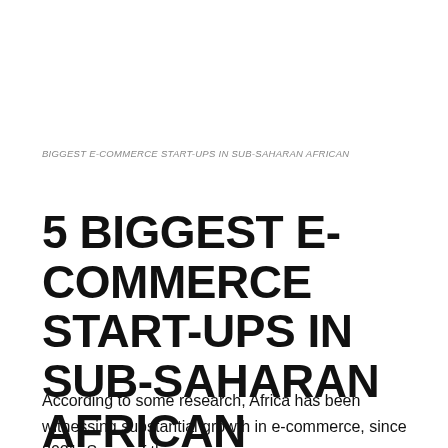BIGGEST E-COMMERCE START-UPS IN SUB-SAHARAN AFRICAN
5 BIGGEST E-COMMERCE START-UPS IN SUB-SAHARAN AFRICAN
According to some research, Africa has been witnessing substantial growth in e-commerce, since 2021. Some of the